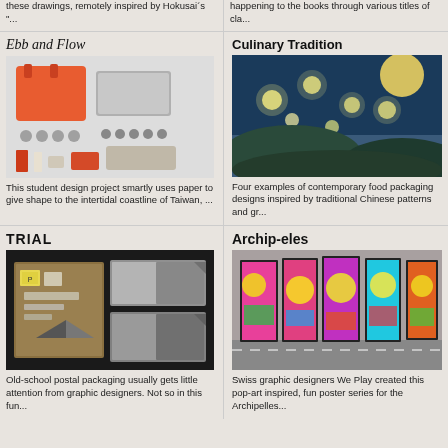these drawings, remotely inspired by Hokusai´s "...
happening to the books through various titles of cla...
Ebb and Flow
Culinary Tradition
[Figure (photo): Flat lay of bag design project items: orange tote bag, gray case, tools, accessories on white background]
[Figure (photo): Artistic food packaging with night sky, moon and glowing lights over landscape in blue tones]
This student design project smartly uses paper to give shape to the intertidal coastline of Taiwan, ...
Four examples of contemporary food packaging designs inspired by traditional Chinese patterns and gr...
TRIAL
Archip-eles
[Figure (photo): Old-school postal packaging boxes on dark background with stamps and markings]
[Figure (photo): Colorful pop-art poster series displayed on outdoor wall by street]
Old-school postal packaging usually gets little attention from graphic designers. Not so in this fun...
Swiss graphic designers We Play created this pop-art inspired, fun poster series for the Archipelles...